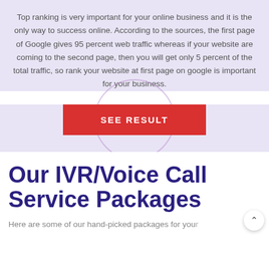Top ranking is very important for your online business and it is the only way to success online. According to the sources, the first page of Google gives 95 percent web traffic whereas if your website are coming to the second page, then you will get only 5 percent of the total traffic, so rank your website at first page on google is important for your business.
[Figure (other): Red 'SEE RESULT' button centered on a light purple background with a faint circular ring behind it]
Our IVR/Voice Call Service Packages
Here are some of our hand-picked packages for your consideration. Click on the package to get details.